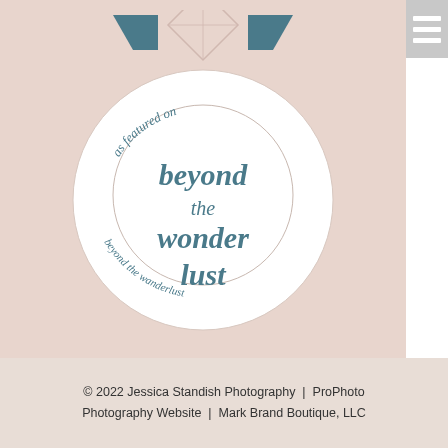[Figure (logo): Beyond the Wanderlust badge/logo on pink background with diamond illustration at top and circular badge reading 'as featured on beyond the wonder lust' with 'beyond the wanderlust' around the bottom]
© 2022 Jessica Standish Photography | ProPhoto Photography Website | Mark Brand Boutique, LLC